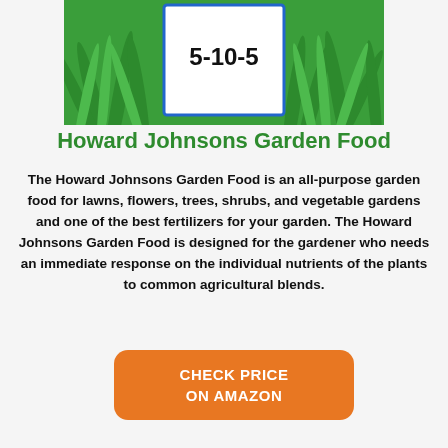[Figure (photo): Product image of Howard Johnsons Garden Food fertilizer bag (5-10-5) with green grass background]
Howard Johnsons Garden Food
The Howard Johnsons Garden Food is an all-purpose garden food for lawns, flowers, trees, shrubs, and vegetable gardens and one of the best fertilizers for your garden. The Howard Johnsons Garden Food is designed for the gardener who needs an immediate response on the individual nutrients of the plants to common agricultural blends.
[Figure (other): Orange rounded button reading CHECK PRICE ON AMAZON]